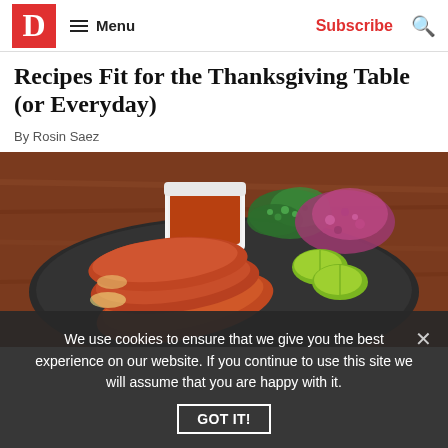D  Menu  Subscribe
Recipes Fit for the Thanksgiving Table (or Everyday)
By Rosin Saez
[Figure (photo): A black plate with orange fried tacos (birria tacos), a small white cup of red consomé broth, chopped cilantro, diced red onion, and lime wedges, on a wooden table background.]
We use cookies to ensure that we give you the best experience on our website. If you continue to use this site we will assume that you are happy with it.
GOT IT!